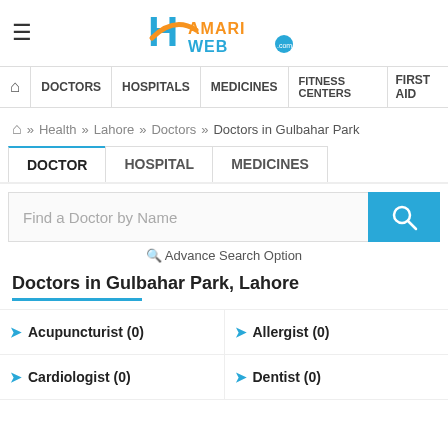HamariWeb - Doctors | Hospitals | Medicines | Fitness Centers | First Aid
[Figure (logo): HamariWeb logo with stylized H and orange/blue text]
DOCTORS | HOSPITALS | MEDICINES | FITNESS CENTERS | FIRST AID
Home » Health » Lahore » Doctors » Doctors in Gulbahar Park
DOCTOR | HOSPITAL | MEDICINES
Find a Doctor by Name
Advance Search Option
Doctors in Gulbahar Park, Lahore
Acupuncturist (0)
Allergist (0)
Cardiologist (0)
Dentist (0)